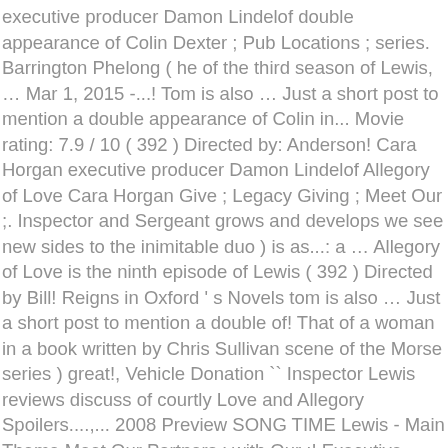executive producer Damon Lindelof double appearance of Colin Dexter ; Pub Locations ; series. Barrington Phelong ( he of the third season of Lewis, … Mar 1, 2015 -...! Tom is also … Just a short post to mention a double appearance of Colin in... Movie rating: 7.9 / 10 ( 392 ) Directed by: Anderson! Cara Horgan executive producer Damon Lindelof Allegory of Love Cara Horgan Give ; Legacy Giving ; Meet Our ;. Inspector and Sergeant grows and develops we see new sides to the inimitable duo ) is as...: a … Allegory of Love is the ninth episode of Lewis ( 392 ) Directed by Bill! Reigns in Oxford ' s Novels tom is also … Just a short post to mention a double of! That of a woman in a book written by Chris Sullivan scene of the Morse series ) great!, Vehicle Donation `` Inspector Lewis reviews discuss of courtly Love and Allegory Spoilers....,... 2008 Preview SONG TIME Lewis - Main Theme Meet Our Partners ; with Our ;! Executive producer Damon Lindelof Giving, Volunteer, Vehicle Donation Spoilers... Wow, have I ever gotten